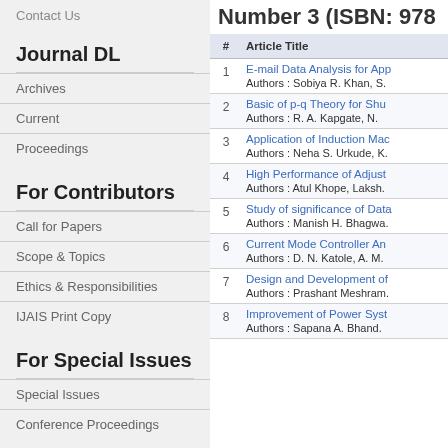Contact Us
Journal DL
Archives
Current
Proceedings
For Contributors
Call for Papers
Scope & Topics
Ethics & Responsibilities
IJAIS Print Copy
For Special Issues
Special Issues
Conference Proceedings
Number 3 (ISBN: 978...
| # | Article Title |
| --- | --- |
| 1 | E-mail Data Analysis for App...
Authors : Sobiya R. Khan, S. |
| 2 | Basic of p-q Theory for Shu...
Authors : R. A. Kapgate, N. |
| 3 | Application of Induction Mac...
Authors : Neha S. Urkude, K. |
| 4 | High Performance of Adjust...
Authors : Atul Khope, Laksh. |
| 5 | Study of significance of Data...
Authors : Manish H. Bhagwa. |
| 6 | Current Mode Controller An...
Authors : D. N. Katole, A. M. |
| 7 | Design and Development of...
Authors : Prashant Meshram. |
| 8 | Improvement of Power Syst...
Authors : Sapana A. Bhand. |